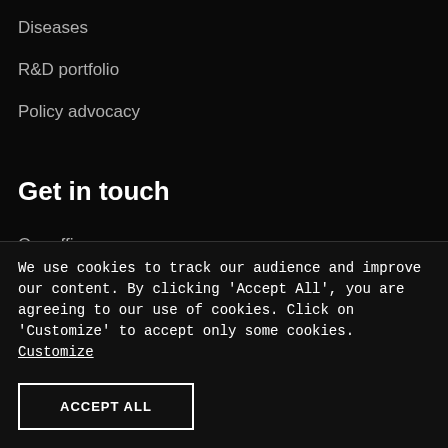Diseases
R&D portfolio
Policy advocacy
Get in touch
Our offices
Contact us
Integrity Line
We use cookies to track our audience and improve our content. By clicking 'Accept All', you are agreeing to our use of cookies. Click on 'Customize' to accept only some cookies. Customize
ACCEPT ALL